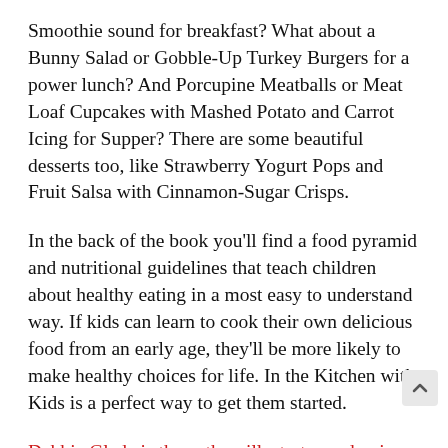Smoothie sound for breakfast? What about a Bunny Salad or Gobble-Up Turkey Burgers for a power lunch? And Porcupine Meatballs or Meat Loaf Cupcakes with Mashed Potato and Carrot Icing for Supper? There are some beautiful desserts too, like Strawberry Yogurt Pops and Fruit Salsa with Cinnamon-Sugar Crisps.
In the back of the book you'll find a food pyramid and nutritional guidelines that teach children about healthy eating in a most easy to understand way. If kids can learn to cook their own delicious food from an early age, they'll be more likely to make healthy choices for life. In the Kitchen with Kids is a perfect way to get them started.
Debbie Glade is the author, illustrator and voice talent of the award-winning children's picture book The Travel Adventures of Lilly P Badilly: Costa